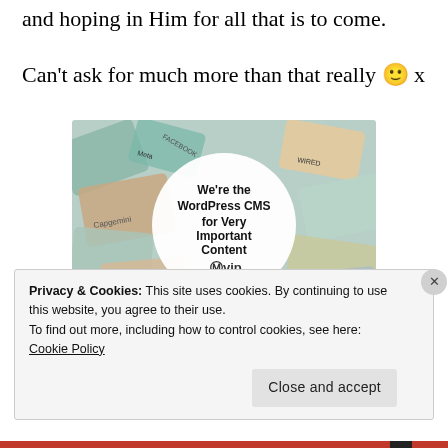and hoping in Him for all that is to come.
Can't ask for much more than that really 🙂 x
[Figure (screenshot): WordPress VIP advertisement banner showing colorful media brand cards with a circular overlay text reading 'We're the WordPress CMS for Very Important Content' with WordPress VIP logo and 'Learn more' link.]
Privacy & Cookies: This site uses cookies. By continuing to use this website, you agree to their use.
To find out more, including how to control cookies, see here: Cookie Policy
Close and accept